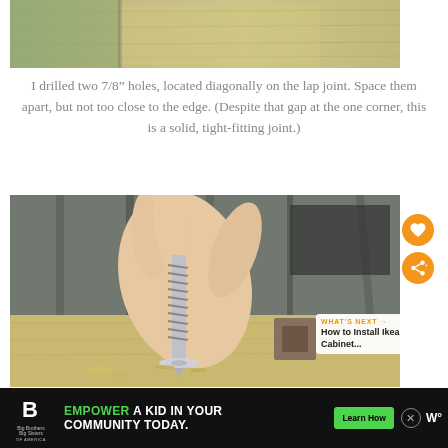[Figure (photo): Photo of wooden boards showing a lap joint with a gap visible at one corner, placed on a surface outdoors.]
I drilled two 7/8" holes, located diagonally on the lap joint. Space them apart, but not too close to the edge. (Despite that gap at the one corner, this is a solid, tight-fitting joint.)
[Figure (photo): Close-up photo of a hand holding a lag screw/bolt above a pre-drilled hole with a metal washer on a wooden board surface outdoors. An orange heart and share button are visible on the right side. A 'What's Next' overlay shows 'How to Install Ikea Cabinet...' with a thumbnail.]
[Figure (photo): Advertisement bar at the bottom: Big Brothers Big Sisters logo on the left, green text 'EMPOWER A KID IN YOUR COMMUNITY TODAY.' with a 'Learn How' button, and a weather widget icon on the right.]